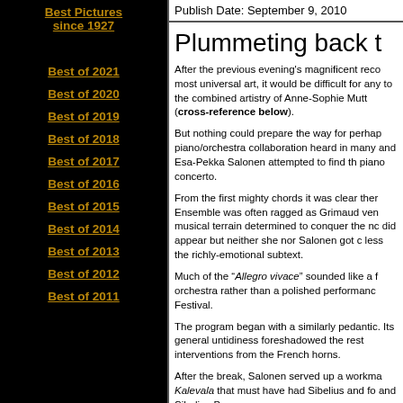Best Pictures since 1927
Publish Date: September 9, 2010
Best of 2021
Best of 2020
Best of 2019
Best of 2018
Best of 2017
Best of 2016
Best of 2015
Best of 2014
Best of 2013
Best of 2012
Best of 2011
Plummeting back t
After the previous evening’s magnificent reco most universal art, it would be difficult for any to the combined artistry of Anne-Sophie Mutt (cross-reference below).
But nothing could prepare the way for perhap piano/orchestra collaboration heard in many and Esa-Pekka Salonen attempted to find th piano concerto.
From the first mighty chords it was clear ther Ensemble was often ragged as Grimaud ven musical terrain determined to conquer the nc did appear but neither she nor Salonen got c less the richly-emotional subtext.
Much of the “Allegro vivace” sounded like a f orchestra rather than a polished performanc Festival.
The program began with a similarly pedantic. Its general untidiness foreshadowed the rest interventions from the French horns.
After the break, Salonen served up a workma Kalevala that must have had Sibelius and fo and Sibelius Bas… bigger in size of…